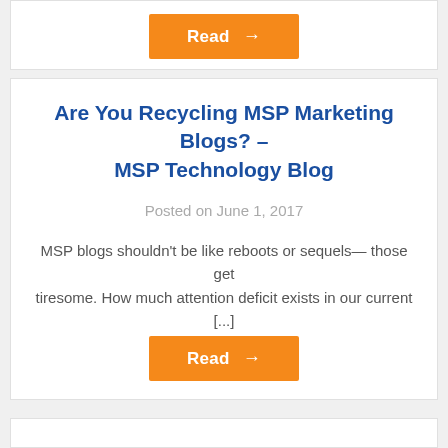[Figure (other): Orange Read button with arrow at top of page, partially visible]
Are You Recycling MSP Marketing Blogs? – MSP Technology Blog
Posted on June 1, 2017
MSP blogs shouldn't be like reboots or sequels— those get tiresome. How much attention deficit exists in our current [...]
[Figure (other): Orange Read button with arrow]
[Figure (other): Bottom card partially visible]